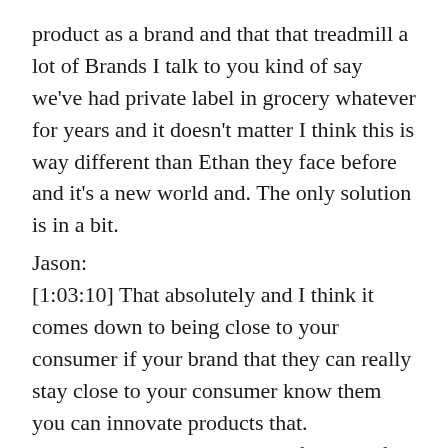product as a brand and that that treadmill a lot of Brands I talk to you kind of say we've had private label in grocery whatever for years and it doesn't matter I think this is way different than Ethan they face before and it's a new world and. The only solution is in a bit.
Jason:
[1:03:10] That absolutely and I think it comes down to being close to your consumer if your brand that they can really stay close to your consumer know them you can innovate products that.
Particular meet their needs or fit their life and it best that the Chinese factories are going to be fast followers and so I think in the New World, those.